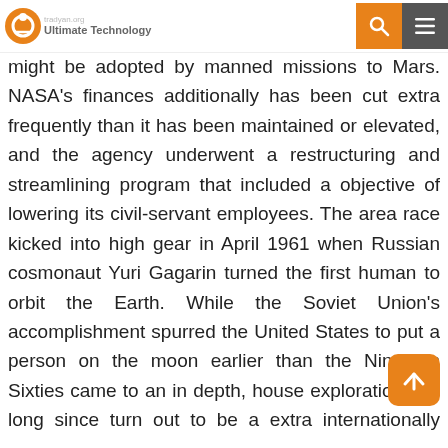Ultimate Technology
might be adopted by manned missions to Mars. NASA's finances additionally has been cut extra frequently than it has been maintained or elevated, and the agency underwent a restructuring and streamlining program that included a objective of lowering its civil-servant employees. The area race kicked into high gear in April 1961 when Russian cosmonaut Yuri Gagarin turned the first human to orbit the Earth. While the Soviet Union's accomplishment spurred the United States to put a person on the moon earlier than the Nineteen Sixties came to an in depth, house exploration has long since turn out to be a extra internationally collaborative affair. The Falcon 9 flight opens a brand new chapter